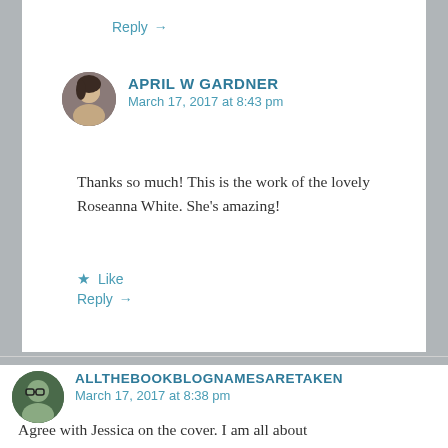Reply →
APRIL W GARDNER
March 17, 2017 at 8:43 pm
Thanks so much! This is the work of the lovely Roseanna White. She's amazing!
★ Like
Reply →
ALLTHEBOOKBLOGNAMESARETAKEN
March 17, 2017 at 8:38 pm
Agree with Jessica on the cover. I am all about